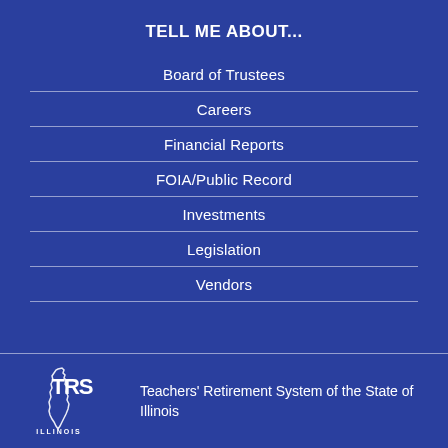TELL ME ABOUT...
Board of Trustees
Careers
Financial Reports
FOIA/Public Record
Investments
Legislation
Vendors
[Figure (logo): TRS Illinois logo — state of Illinois outline with TRS letters]
Teachers' Retirement System of the State of Illinois